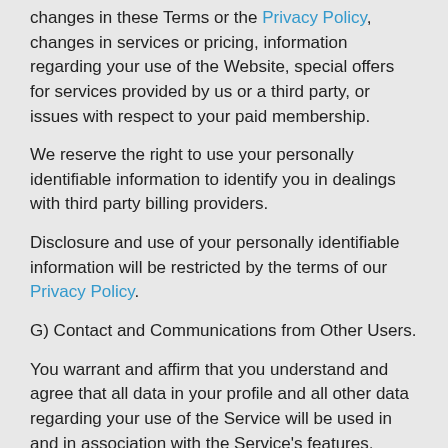changes in these Terms or the Privacy Policy, changes in services or pricing, information regarding your use of the Website, special offers for services provided by us or a third party, or issues with respect to your paid membership.
We reserve the right to use your personally identifiable information to identify you in dealings with third party billing providers.
Disclosure and use of your personally identifiable information will be restricted by the terms of our Privacy Policy.
G) Contact and Communications from Other Users.
You warrant and affirm that you understand and agree that all data in your profile and all other data regarding your use of the Service will be used in and in association with the Service's features, including but not limited to, providing introductions to other Users, details for the new or featured members section, and searchable information for use by other Users of the Service.
Additionally, your profile (and its contents) may be searchable by, and you may be able to search for the profiles (and the contents) of, Members registered to other Websites operated and powered by the Service (e.g. co-branded, privately labeled, etc.). This feature may allow you to interact with Members of other affiliated websites.